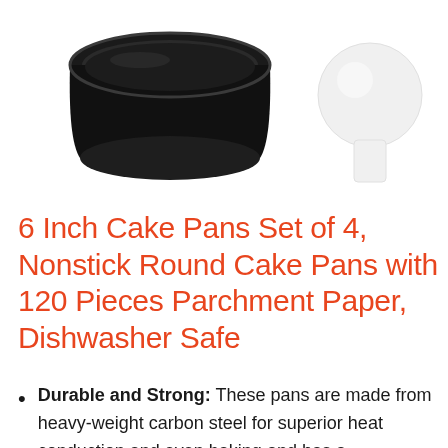[Figure (photo): Two product images: a black nonstick round cake pan on the left, and a white round parchment paper with a tab on the right, both photographed on a white background.]
6 Inch Cake Pans Set of 4, Nonstick Round Cake Pans with 120 Pieces Parchment Paper, Dishwasher Safe
Durable and Strong: These pans are made from heavy-weight carbon steel for superior heat conduction and even baking and has a